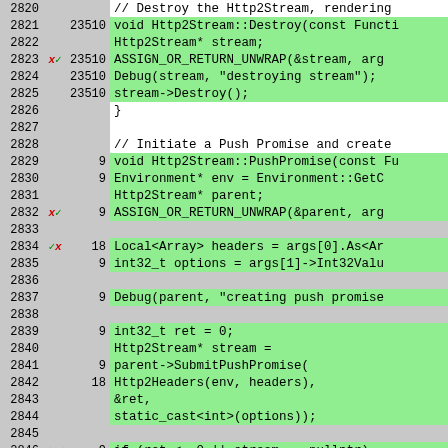[Figure (screenshot): Code coverage viewer showing C++ source lines 2820-2846. Lines with green background are covered. Columns show: line number, mutation markers (red X/green checkmarks), execution count, and source code. Code shows Http2Stream::Destroy and Http2Stream::PushPromise functions.]